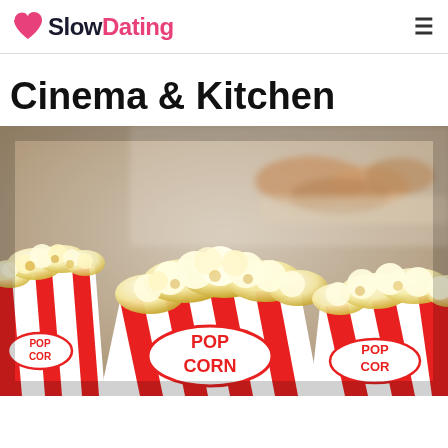SlowDating
Cinema & Kitchen
[Figure (photo): Three red-and-white striped POPCORN boxes filled with popcorn in the foreground, with pastries/croissants visible in the background on a tray.]